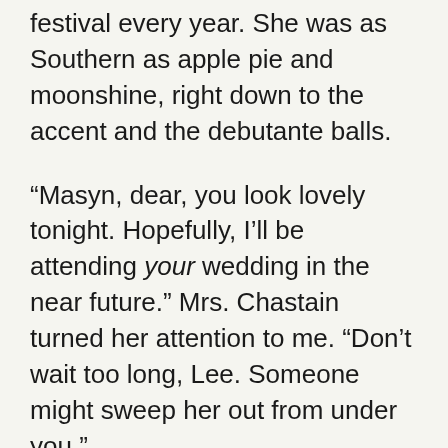festival every year. She was as Southern as apple pie and moonshine, right down to the accent and the debutante balls.
“Masyn, dear, you look lovely tonight. Hopefully, I’ll be attending your wedding in the near future.” Mrs. Chastain turned her attention to me. “Don’t wait too long, Lee. Someone might sweep her out from under you.”
Dear God, this woman had been hitting the sauce already. “We’re not dating, Mrs. Chastain,” I reminded her for about the hundredth time in six years.
Masyn had the same...